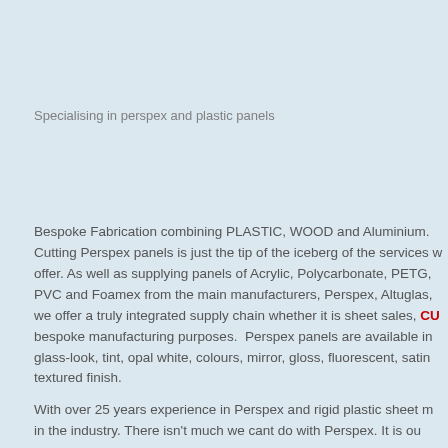Specialising in perspex and plastic panels
Bespoke Fabrication combining PLASTIC, WOOD and Aluminium. Cutting Perspex panels is just the tip of the iceberg of the services we offer. As well as supplying panels of Acrylic, Polycarbonate, PETG, PVC and Foamex from the main manufacturers, Perspex, Altuglas, we offer a truly integrated supply chain whether it is sheet sales, CU bespoke manufacturing purposes.  Perspex panels are available in glass-look, tint, opal white, colours, mirror, gloss, fluorescent, satin textured finish.
With over 25 years experience in Perspex and rigid plastic sheet m in the industry. There isn't much we cant do with Perspex. It is ou